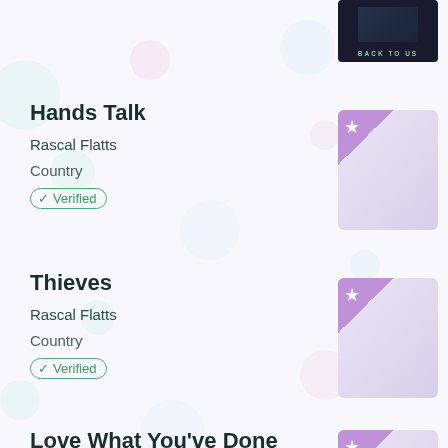[Figure (photo): Album art thumbnail for top entry showing dark background with text BACK TO US]
Hands Talk
Rascal Flatts
Country
Verified
[Figure (illustration): Album art placeholder with purple star in top-left corner on light purple/grey gradient background]
Thieves
Rascal Flatts
Country
Verified
[Figure (illustration): Album art placeholder with purple star in top-left corner on light purple/grey gradient background]
Love What You've Done With The Place
Rascal Flatts
Country
[Figure (illustration): Album art placeholder with purple star in top-left corner on light purple/grey gradient background]